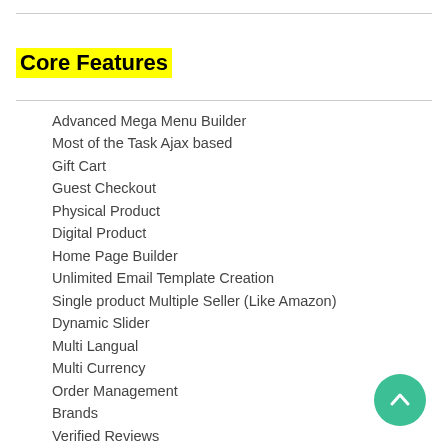Core Features
Advanced Mega Menu Builder
Most of the Task Ajax based
Gift Cart
Guest Checkout
Physical Product
Digital Product
Home Page Builder
Unlimited Email Template Creation
Single product Multiple Seller (Like Amazon)
Dynamic Slider
Multi Langual
Multi Currency
Order Management
Brands
Verified Reviews
Product Deals
New User Zone
Trusted Seller
Wishlist
Dynamic Coupon
Guest Checkout
Multi Level Category